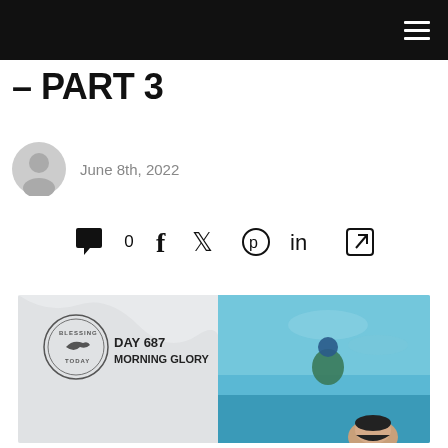– PART 3
June 8th, 2022
0
[Figure (photo): Article thumbnail: DAY 687 MORNING GLORY – Blessing Today logo with a person sitting by water and a man smiling below]